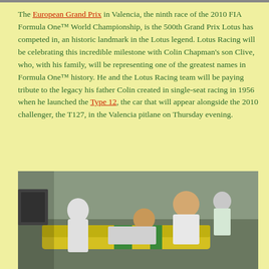The European Grand Prix in Valencia, the ninth race of the 2010 FIA Formula One™ World Championship, is the 500th Grand Prix Lotus has competed in, an historic landmark in the Lotus legend. Lotus Racing will be celebrating this incredible milestone with Colin Chapman's son Clive, who, with his family, will be representing one of the greatest names in Formula One™ history. He and the Lotus Racing team will be paying tribute to the legacy his father Colin created in single-seat racing in 1956 when he launched the Type 12, the car that will appear alongside the 2010 challenger, the T127, in the Valencia pitlane on Thursday evening.
[Figure (photo): Photo of people in a racing pit lane environment, with a yellow and green Lotus racing car visible, and people leaning over it.]